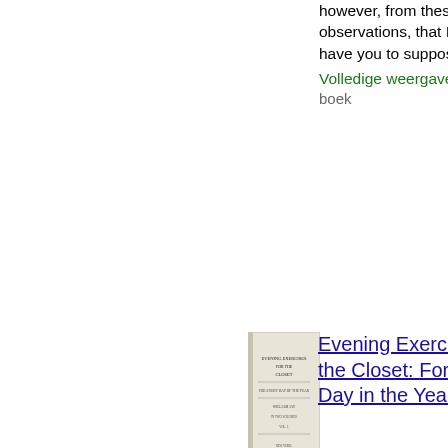however, from these observations, that I would have you to suppose...
Volledige weergave - Over dit boek
[Figure (illustration): Thumbnail image of book cover for Evening Exercises for the Closet]
Evening Exercises for the Closet: For Every Day in the Year
William Jay - 1833
...water shall be sure. O fear the Lord, all ye his saints, for there is no want to them that fear him. The young lions do lack and suffer hunger, but